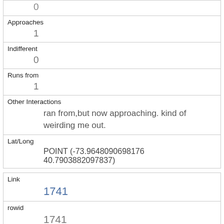| 0 |
| Approaches | 1 |
| Indifferent | 0 |
| Runs from | 1 |
| Other Interactions | ran from,but now approaching. kind of weirding me out. |
| Lat/Long | POINT (-73.9648090698176 40.7903882097837) |
| Link | 1741 |
| rowid | 1741 |
| longitude | -73.9736995552241 |
| latitude |  |